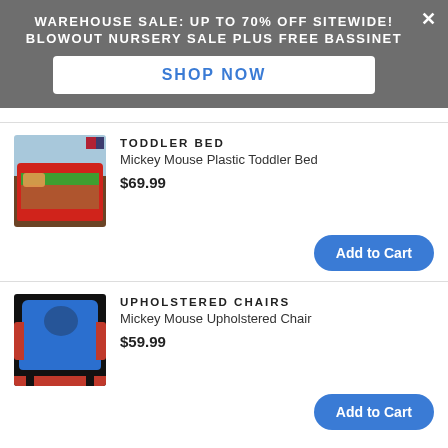WAREHOUSE SALE: UP TO 70% OFF SITEWIDE! BLOWOUT NURSERY SALE PLUS FREE BASSINET
SHOP NOW
TODDLER BED
Mickey Mouse Plastic Toddler Bed
$69.99
Add to Cart
UPHOLSTERED CHAIRS
Mickey Mouse Upholstered Chair
$59.99
Add to Cart